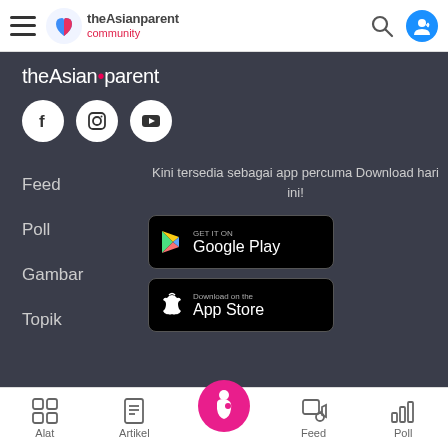theAsianparent community
[Figure (logo): theAsianparent logo with heart icon]
theAsianparent
[Figure (illustration): Social media icons: Facebook, Instagram, YouTube]
Kini tersedia sebagai app percuma Download hari ini!
Feed
Poll
Gambar
Topik
[Figure (screenshot): GET IT ON Google Play button]
[Figure (screenshot): Download on the App Store button]
Alat  Artikel  Feed  Poll